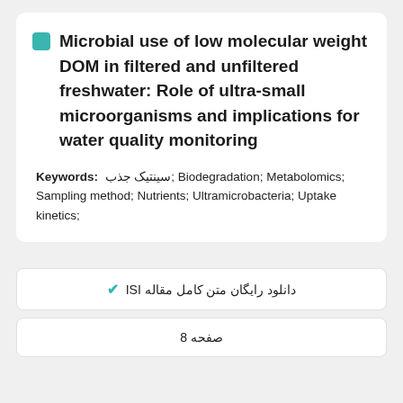Microbial use of low molecular weight DOM in filtered and unfiltered freshwater: Role of ultra-small microorganisms and implications for water quality monitoring
Keywords: سینتیک جذب; Biodegradation; Metabolomics; Sampling method; Nutrients; Ultramicrobacteria; Uptake kinetics;
✔ دانلود رایگان متن کامل مقاله ISI
8 صفحه